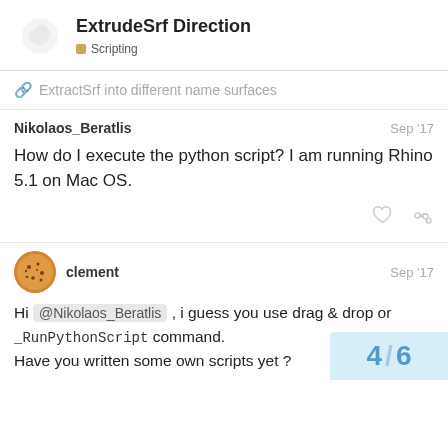ExtrudeSrf Direction — Scripting
ExtractSrf into different name surfaces
Nikolaos_Beratlis  Sep '17
How do I execute the python script? I am running Rhino 5.1 on Mac OS.
clement  Sep '17
Hi @Nikolaos_Beratlis , i guess you use drag & drop or _RunPythonScript command.
Have you written some own scripts yet ?
4 / 6